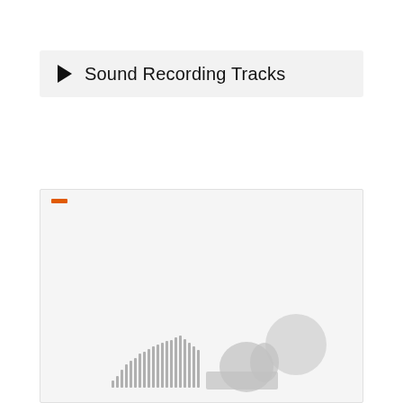Sound Recording Tracks
[Figure (other): SoundCloud embedded player widget with light gray background, orange progress indicator at top left, SoundCloud logo (circular gray icon) at bottom right, and audio waveform visualization at bottom center]